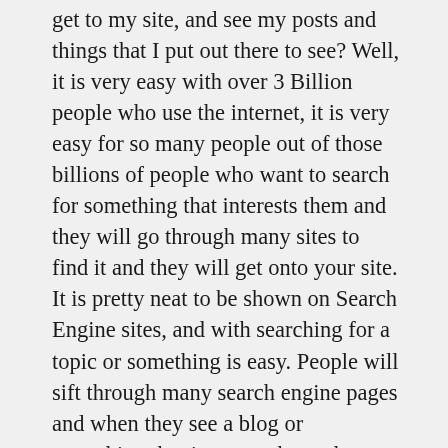get to my site, and see my posts and things that I put out there to see? Well, it is very easy with over 3 Billion people who use the internet, it is very easy for so many people out of those billions of people who want to search for something that interests them and they will go through many sites to find it and they will get onto your site. It is pretty neat to be shown on Search Engine sites, and with searching for a topic or something is easy. People will sift through many search engine pages and when they see a blog or something that interests them, they will click on your site and see the content they want, then they might share it amongst their family and friends, and then will share it on their social media sites.
Some tips to take note of and a word of advice when beginning your social media journey:
– Be Patient
– Focus on Discuss Policy